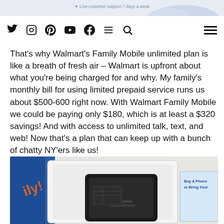Live customer support 7 days a week
That's why Walmart's Family Mobile unlimited plan is like a breath of fresh air – Walmart is upfront about what you're being charged for and why. My family's monthly bill for using limited prepaid service runs us about $500-600 right now. With Walmart Family Mobile we could be paying only $180, which is at least a $320 savings! And with access to unlimited talk, text, and web! Now that's a plan that can keep up with a bunch of chatty NY'ers like us!
[Figure (photo): Photo of a Walmart Family Mobile phone kit with a SIM card and blue packaging that reads 'Buy A Phone or Bring Your...']